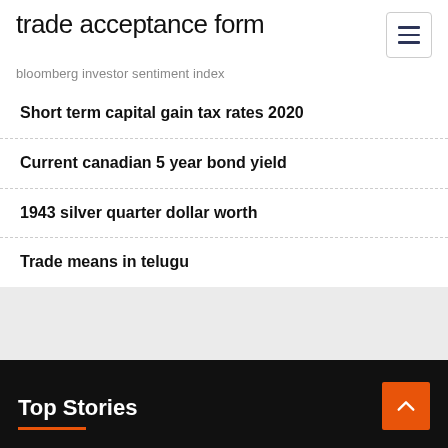trade acceptance form
bloomberg investor sentiment index
Short term capital gain tax rates 2020
Current canadian 5 year bond yield
1943 silver quarter dollar worth
Trade means in telugu
Top Stories